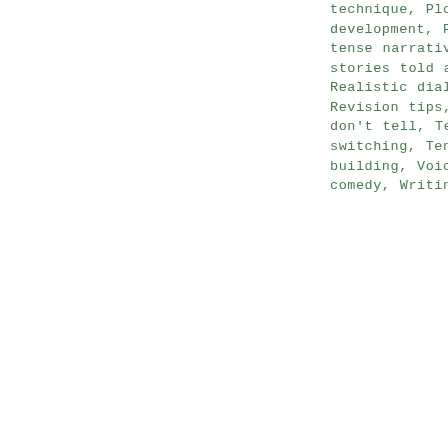technique, Plot development, Present-tense narratives, Real stories told as fiction, Realistic dialogue, Revision tips, Show don't tell, Tense-switching, Tension-building, Voice, Writing comedy, Writing memoir
One Reply to “The scourge of the passive interviewer, part V: push-polling the reader and other